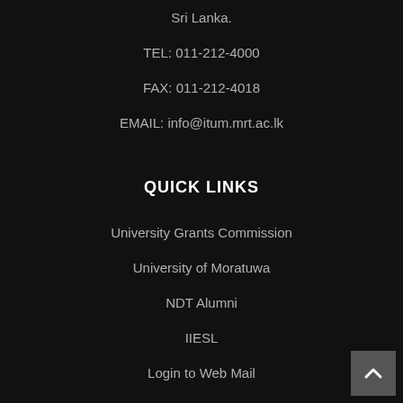Sri Lanka.
TEL: 011-212-4000
FAX: 011-212-4018
EMAIL: info@itum.mrt.ac.lk
QUICK LINKS
University Grants Commission
University of Moratuwa
NDT Alumni
IIESL
Login to Web Mail